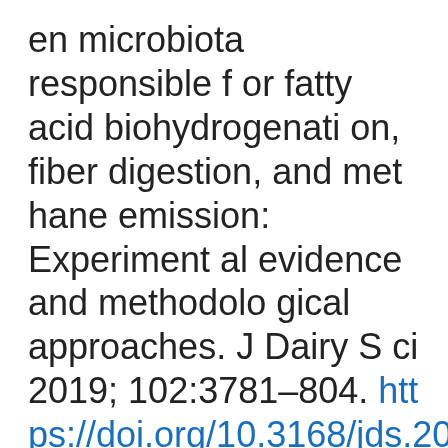en microbiota responsible for fatty acid biohydrogenation, fiber digestion, and methane emission: Experimental evidence and methodological approaches. J Dairy Sci 2019; 102:3781–804. https://doi.org/10.3168/jds.2018-14985
Article  PubMed
10. Gao Q, Shi Y, Liao M, et